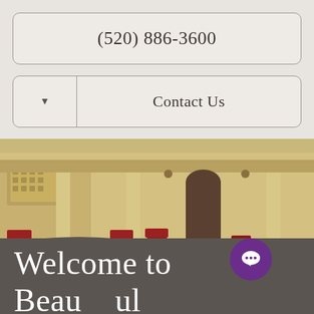(520) 886-3600
Contact Us
[Figure (photo): Outdoor patio of a senior living community showing columns, red chairs, potted plants, and green lawn]
Welcome to Beautiful Independent Senior